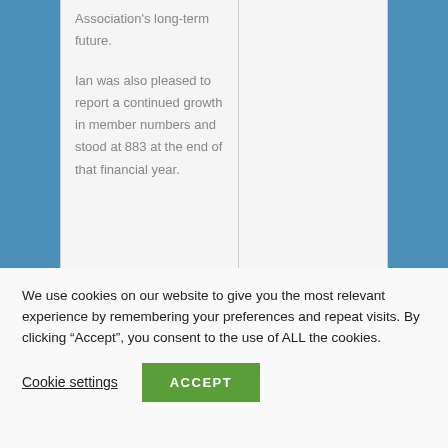| Association's long-term future. |  |
| Ian was also pleased to report a continued growth in member numbers and stood at 883 at the end of that financial year. |  |
We use cookies on our website to give you the most relevant experience by remembering your preferences and repeat visits. By clicking “Accept”, you consent to the use of ALL the cookies.